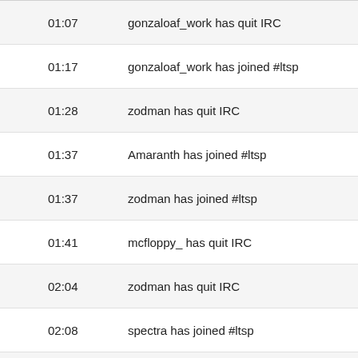01:07   gonzaloaf_work has quit IRC
01:17   gonzaloaf_work has joined #ltsp
01:28   zodman has quit IRC
01:37   Amaranth has joined #ltsp
01:37   zodman has joined #ltsp
01:41   mcfloppy_ has quit IRC
02:04   zodman has quit IRC
02:08   spectra has joined #ltsp
02:24   plamengr has joined #ltsp
02:46   fernando1 has quit IRC
03:08   fernando1 has joined #ltsp
03:09   cyberorg has quit IRC